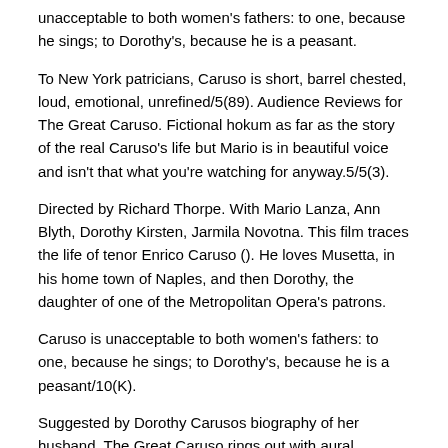unacceptable to both women's fathers: to one, because he sings; to Dorothy's, because he is a peasant.
To New York patricians, Caruso is short, barrel chested, loud, emotional, unrefined/5(89). Audience Reviews for The Great Caruso. Fictional hokum as far as the story of the real Caruso's life but Mario is in beautiful voice and isn't that what you're watching for anyway.5/5(3).
Directed by Richard Thorpe. With Mario Lanza, Ann Blyth, Dorothy Kirsten, Jarmila Novotna. This film traces the life of tenor Enrico Caruso (). He loves Musetta, in his home town of Naples, and then Dorothy, the daughter of one of the Metropolitan Opera's patrons.
Caruso is unacceptable to both women's fathers: to one, because he sings; to Dorothy's, because he is a peasant/10(K).
Suggested by Dorothy Carusos biography of her husband, The Great Caruso rings out with aural pleasures (27 musical selections) and shines with the grandeur of a life lovingly refracted through the Hollywood biopic lens.